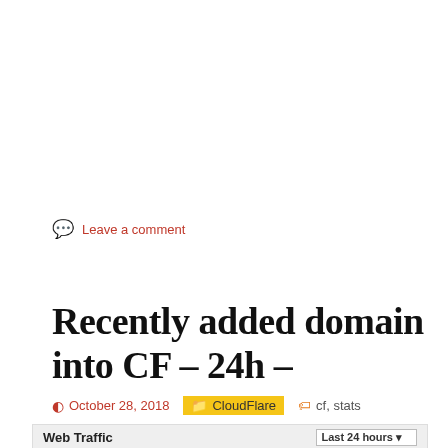Leave a comment
Recently added domain into CF – 24h –
October 28, 2018  CloudFlare  cf, stats
[Figure (screenshot): Web Traffic widget showing tabs: Requests, Bandwidth, Unique Visitors, Threats. Dropdown showing Last 24 hours.]